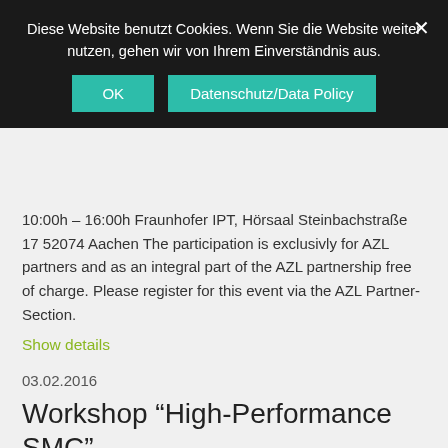Diese Website benutzt Cookies. Wenn Sie die Website weiter nutzen, gehen wir von Ihrem Einverständnis aus.
OK | Datenschutz/Data Policy | ×
10:00h – 16:00h Fraunhofer IPT, Hörsaal Steinbachstraße 17 52074 Aachen The participation is exclusivly for AZL partners and as an integral part of the AZL partnership free of charge. Please register for this event via the AZL Partner-Section.
Show details
03.02.2016
Workshop "High-Performance SMC"
Time and Venue Wednesday, February 3rd, 2016 09:00h – 14:00h Fraunhofer IPT, Hörsaal Steinbachstraße 17 52074 Aachen As an integral part of the AZL partnership the participation is free of charge. Please register for this event by January